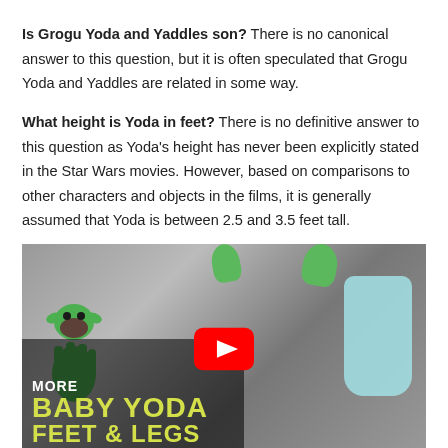Is Grogu Yoda and Yaddles son? There is no canonical answer to this question, but it is often speculated that Grogu Yoda and Yaddles are related in some way.
What height is Yoda in feet? There is no definitive answer to this question as Yoda's height has never been explicitly stated in the Star Wars movies. However, based on comparisons to other characters and objects in the films, it is generally assumed that Yoda is between 2.5 and 3.5 feet tall.
[Figure (photo): YouTube video thumbnail showing a woman wearing Baby Yoda ears holding a green Grogu figure in one hand and a light blue item in the other hand. Text overlay reads MORE BABY YODA FEET & LEGS with a YouTube play button in the center.]